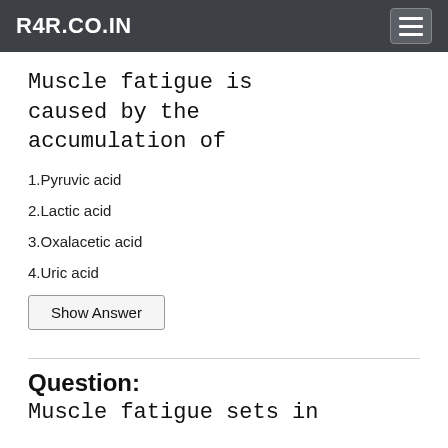R4R.CO.IN
Muscle fatigue is caused by the accumulation of
1.Pyruvic acid
2.Lactic acid
3.Oxalacetic acid
4.Uric acid
Show Answer
Question:
Muscle fatigue sets in